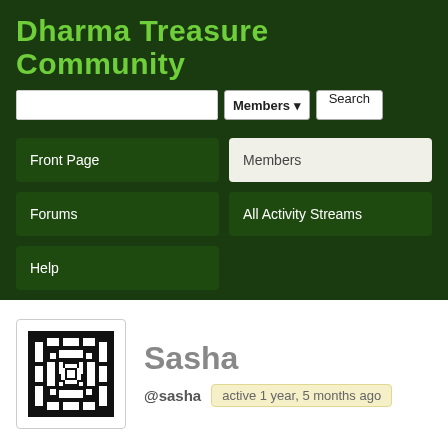Dharma Treasure Community
Members ▾  Search
Front Page
Members
Forums
All Activity Streams
Help
[Figure (logo): Black and white geometric endless knot / Tibetan dharma knot pattern used as avatar]
Sasha
@sasha  active 1 year, 5 months ago